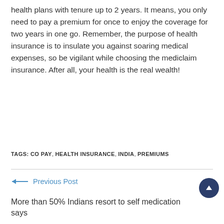health plans with tenure up to 2 years. It means, you only need to pay a premium for once to enjoy the coverage for two years in one go. Remember, the purpose of health insurance is to insulate you against soaring medical expenses, so be vigilant while choosing the mediclaim insurance. After all, your health is the real wealth!
TAGS: CO PAY, HEALTH INSURANCE, INDIA, PREMIUMS
← Previous Post
More than 50% Indians resort to self medication says